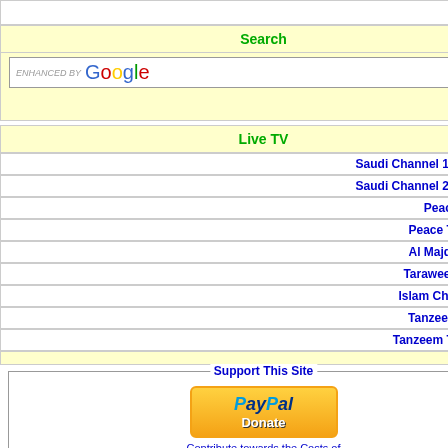Misc
Search
[Figure (screenshot): Google search box with ENHANCED BY label and Search button]
Live TV
Saudi Channel 1(S. Arabia)
Saudi Channel 2(S. Arabia)
Peace TV Urdu
Peace TV English
Al Majd Quran TV
Taraweeh Channel
Islam Channel (UK)
Tanzeem TV Urdu
Tanzeem TV English
Support This Site - PayPal Donate - Contribute towards the Costs of
Jashan-e-Aamad-e-Rasool (www.aswatalislam.net).mp3 - Download
Jhoolay Jhoolay Pyaray Aaqa (www.aswatalislam.net).mp3 - Download
Khushiyan Manao Bhaiyon Sarkar Aa Gaye Hain (www.aswatalislam.net).mp3 - Download
Kiyoon Barweeh Pay Hain Subhi Ko Pyar Aa Gaya (www.aswatalislam.net).mp3 - Download
Maah-e-Rabbi-ul-Awwal Aaya (www.aswatalislam.net).mp3 - Download
Naseeb Chamkay Hain Farshiyon Kay (www.aswatalislam.net).mp3 - Download
Oon Kay Aanay Ki Khushiyan Manatay Chalo (www.aswatalislam.net).mp3 - Download
Shah-e-Har Do Sara Ki Aamad Hai (www.aswatalislam.net).mp3 - Download